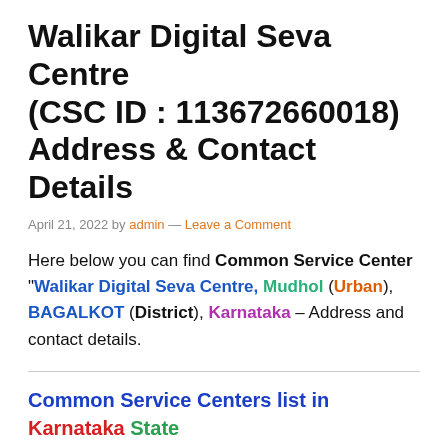Walikar Digital Seva Centre (CSC ID : 113672660018) Address & Contact Details
April 21, 2022 by admin — Leave a Comment
Here below you can find Common Service Center "Walikar Digital Seva Centre, Mudhol (Urban), BAGALKOT (District), Karnataka – Address and contact details.
Common Service Centers list in Karnataka State